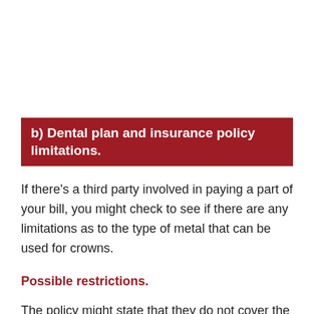b) Dental plan and insurance policy limitations.
If there’s a third party involved in paying a part of your bill, you might check to see if there are any limitations as to the type of metal that can be used for crowns.
Possible restrictions.
The policy might state that they do not cover the cost of high noble alloys. Or the level of coverage (in terms of your out-of-pocket expenses) might vary according